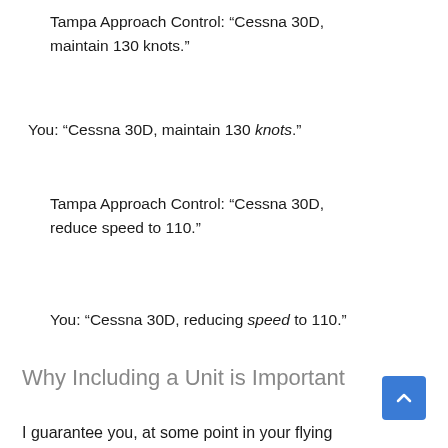Tampa Approach Control: “Cessna 30D, maintain 130 knots.”
You: “Cessna 30D, maintain 130 knots.”
Tampa Approach Control: “Cessna 30D, reduce speed to 110.”
You: “Cessna 30D, reducing speed to 110.”
Why Including a Unit is Important
I guarantee you, at some point in your flying